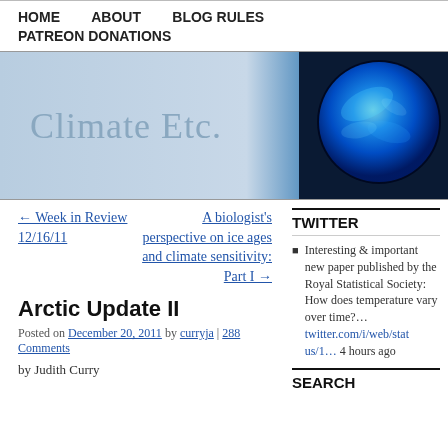HOME  ABOUT  BLOG RULES  PATREON DONATIONS
[Figure (illustration): Climate Etc. blog banner with light blue gradient background and blue plasma sphere on the right, text reads 'Climate Etc.']
← Week in Review 12/16/11
A biologist's perspective on ice ages and climate sensitivity: Part I →
Arctic Update II
Posted on December 20, 2011 by curryja | 288 Comments
by Judith Curry
TWITTER
Interesting & important new paper published by the Royal Statistical Society: How does temperature vary over time?… twitter.com/i/web/status/1… 4 hours ago
SEARCH